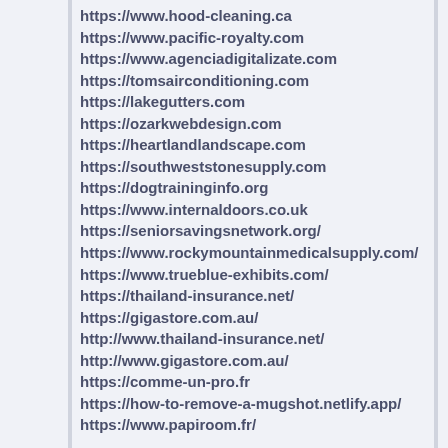https://www.hood-cleaning.ca
https://www.pacific-royalty.com
https://www.agenciadigitalizate.com
https://tomsairconditioning.com
https://lakegutters.com
https://ozarkwebdesign.com
https://heartlandlandscape.com
https://southweststonesupply.com
https://dogtraininginfo.org
https://www.internaldoors.co.uk
https://seniorsavingsnetwork.org/
https://www.rockymountainmedicalsupply.com/
https://www.trueblue-exhibits.com/
https://thailand-insurance.net/
https://gigastore.com.au/
http://www.thailand-insurance.net/
http://www.gigastore.com.au/
https://comme-un-pro.fr
https://how-to-remove-a-mugshot.netlify.app/
https://www.papiroom.fr/